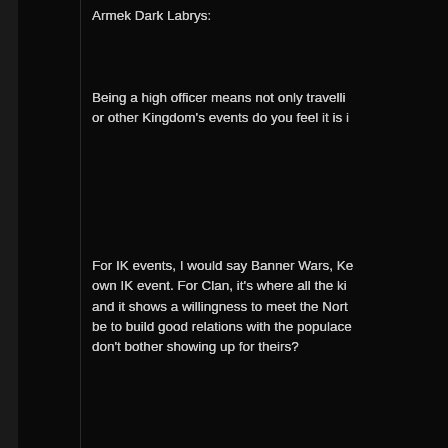Armek Dark Labrys:
Being a high officer means not only travelling or other Kingdom's events do you feel it is i
For IK events, I would say Banner Wars, Ke own IK event. For Clan, it's where all the ki and it shows a willingness to meet the Nort be to build good relations with the populace don't bother showing up for theirs?
What do you plan to do during your term to
I would have a series of different tourname a few that aren't just specifically oriented to variety of fighting styles. For goofy tournam like to see more archery and throwing tourn fighting.
What makes you a great/the ideal candidat